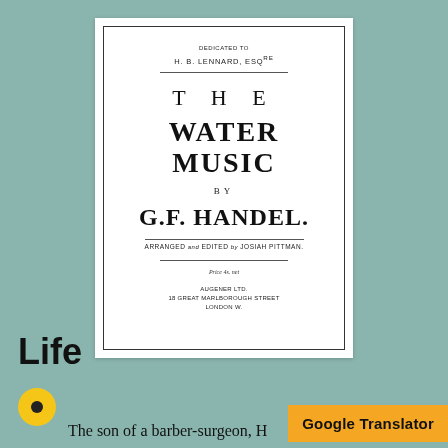[Figure (illustration): Scanned cover page of a sheet music publication: 'The Water Music' by G.F. Handel, arranged and edited by Josiah Pittman. Dedicated to H.B. Lennard, Esq. Published by Augener Ltd., 18 Great Marlborough Street, London W.]
Life
[Figure (logo): Yellow circle with a black dot inside — life section icon]
The son of a barber-surgeon, H
Google Translator